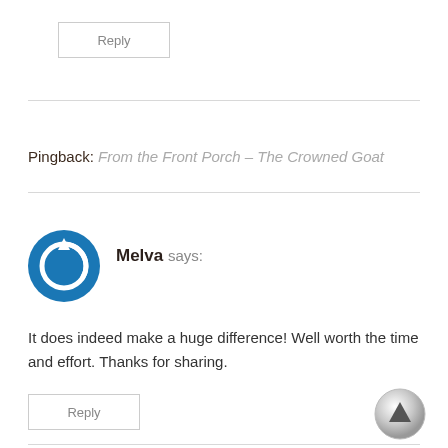Reply
Pingback: From the Front Porch – The Crowned Goat
[Figure (illustration): Blue circular power/refresh icon used as avatar for commenter Melva]
Melva says:
It does indeed make a huge difference! Well worth the time and effort. Thanks for sharing.
Reply
[Figure (illustration): Silver/gray circular scroll-to-top button with upward triangle arrow]